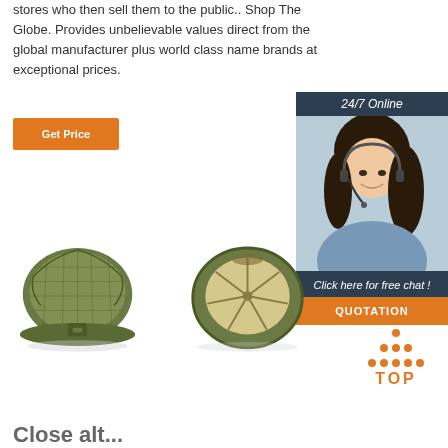stores who then sell them to the public.. Shop The Globe. Provides unbelievable values direct from the global manufacturer plus world class name brands at exceptional prices.
[Figure (other): Orange 'Get Price' button]
[Figure (other): 24/7 Online chat widget with female agent photo, 'Click here for free chat!' text, and orange QUOTATION button]
[Figure (photo): Two olive/army green mesh trucker caps shown from back and interior views]
[Figure (logo): TOP logo with orange dots arranged in triangle above the word TOP in orange bold letters]
Close alt...